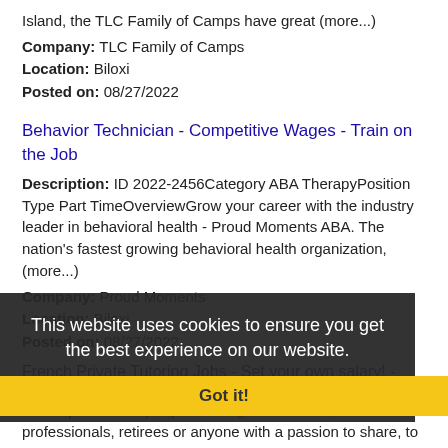Island, the TLC Family of Camps have great (more...)
Company: TLC Family of Camps
Location: Biloxi
Posted on: 08/27/2022
Behavior Technician - Competitive Wages - Train on the Job
Description: ID 2022-2456Category ABA TherapyPosition Type Part TimeOverviewGrow your career with the industry leader in behavioral health - Proud Moments ABA. The nation's fastest growing behavioral health organization, (more...)
Company: Proud Moments
Location: Biloxi
Posted on: 08/27/2022
French Private Tutoring Jobs - Set your own salary! - REMOTE!
Description: Company is looking for students, professionals, retirees or anyone with a passion to share, to join the largest community of teachers worldwide br If you have free time and want to share your (more...)
Company: Superprof
Location: Biloxi
Posted on: 08/27/2022